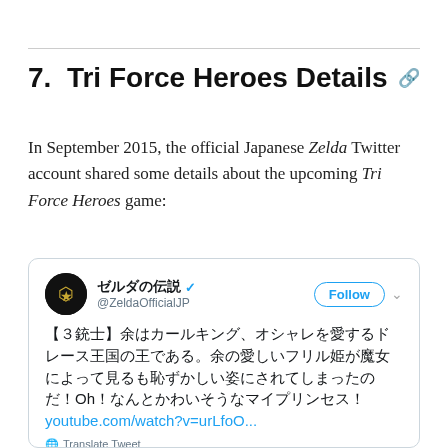7. Tri Force Heroes Details
In September 2015, the official Japanese Zelda Twitter account shared some details about the upcoming Tri Force Heroes game:
[Figure (screenshot): Screenshot of a tweet from @ZeldaOfficialJP (ゼルダの伝説, verified account) with Japanese text: 【３銃士】余はカールキング、オシャレを愛するドレース王国の王である。余の愛しいフリル姫が魔女によって見るも恥ずかしい姿にされてしまったのだ！Oh！なんとかわいそうなマイプリンセス！ youtube.com/watch?v=urLfoO... with a Translate Tweet option and a partial game screenshot at the bottom.]